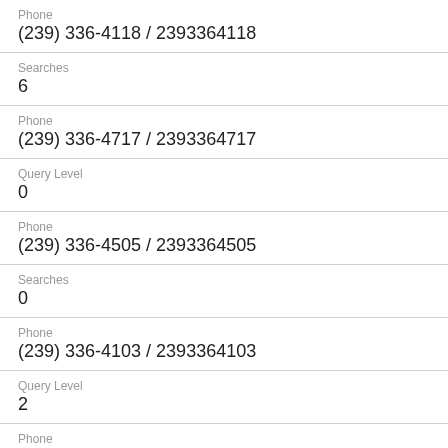Phone
(239) 336-4118 / 2393364118
Searches
6
Phone
(239) 336-4717 / 2393364717
Query Level
0
Phone
(239) 336-4505 / 2393364505
Searches
0
Phone
(239) 336-4103 / 2393364103
Query Level
2
Phone
(239) 336-4115 / 2393364115
Searches